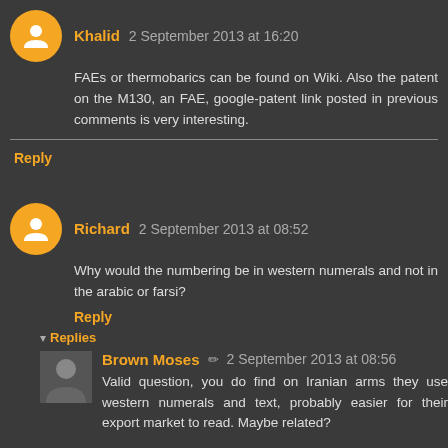Khalid 2 September 2013 at 16:20 — FAEs or thermobarics can be found on Wiki. Also the patent on the M130, an FAE, google-patent link posted in previous comments is very interesting.
Reply
Richard 2 September 2013 at 08:52 — Why would the numbering be in western numerals and not in the arabic or farsi?
Reply
Replies
Brown Moses ✏ 2 September 2013 at 08:56 — Valid question, you do find on Iranian arms they use western numerals and text, probably easier for their export market to read. Maybe related?